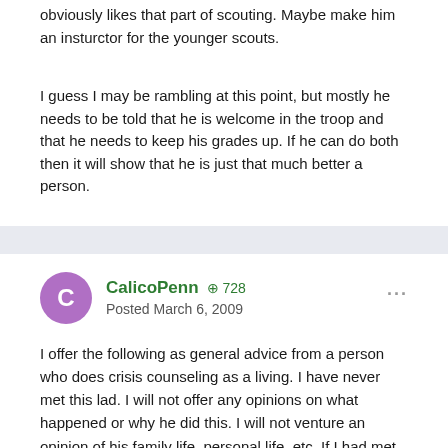obviously likes that part of scouting. Maybe make him an insturctor for the younger scouts.
I guess I may be rambling at this point, but mostly he needs to be told that he is welcome in the troop and that he needs to keep his grades up. If he can do both then it will show that he is just that much better a person.
CalicoPenn  +728  Posted March 6, 2009
I offer the following as general advice from a person who does crisis counseling as a living. I have never met this lad. I will not offer any opinions on what happened or why he did this. I will not venture an opinion of his family life, personal life, etc. If I had met this lad, I would be precluded from talking about it anyway. I will only say that the following comes from experience. Too often, good intentions can make matters worse. The hardest part sometimes to deal with is trying to undo the damage folks with